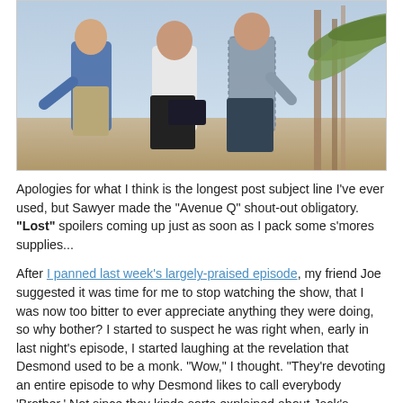[Figure (photo): Three men standing outdoors in a tropical/beach setting with palm fronds visible. One man wears a blue shirt, another a white t-shirt, another a plaid shirt.]
Apologies for what I think is the longest post subject line I've ever used, but Sawyer made the "Avenue Q" shout-out obligatory. "Lost" spoilers coming up just as soon as I pack some s'mores supplies...
After I panned last week's largely-praised episode, my friend Joe suggested it was time for me to stop watching the show, that I was now too bitter to ever appreciate anything they were doing, so why bother? I started to suspect he was right when, early in last night's episode, I started laughing at the revelation that Desmond used to be a monk. "Wow," I thought. "They're devoting an entire episode to why Desmond likes to call everybody 'Brother.' Not since they kinda sorta explained about Jack's tattoos have the producers bothered to answer such a hotly-debated